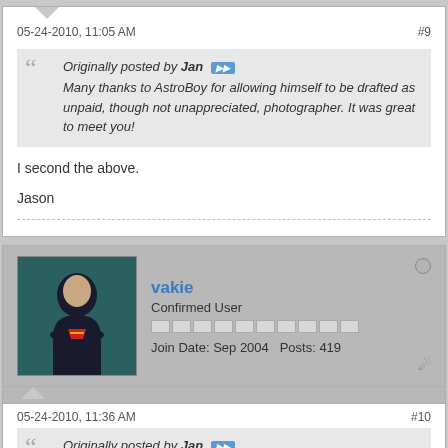05-24-2010, 11:05 AM
#9
Originally posted by Jan
Many thanks to AstroBoy for allowing himself to be drafted as unpaid, though not unappreciated, photographer. It was great to meet you!
I second the above.
Jason
vakie
Confirmed User
Join Date: Sep 2004   Posts: 419
05-24-2010, 11:36 AM
#10
Originally posted by Jan
I'll see if there's anything to add to AstroBoy's excellent